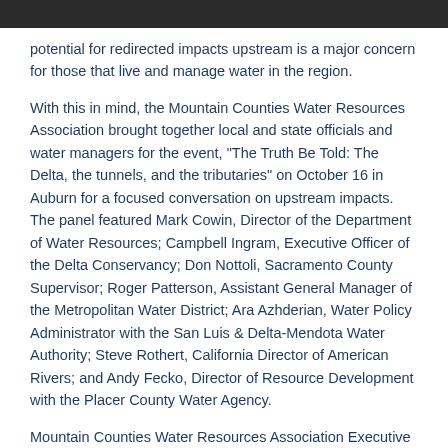potential for redirected impacts upstream is a major concern for those that live and manage water in the region.
With this in mind, the Mountain Counties Water Resources Association brought together local and state officials and water managers for the event, "The Truth Be Told: The Delta, the tunnels, and the tributaries" on October 16 in Auburn for a focused conversation on upstream impacts.  The panel featured Mark Cowin, Director of the Department of Water Resources; Campbell Ingram, Executive Officer of the Delta Conservancy; Don Nottoli, Sacramento County Supervisor; Roger Patterson, Assistant General Manager of the Metropolitan Water District; Ara Azhderian, Water Policy Administrator with the San Luis & Delta-Mendota Water Authority; Steve Rothert, California Director of American Rivers; and Andy Fecko, Director of Resource Development with the Placer County Water Agency.
Mountain Counties Water Resources Association Executive Director John Kingsbury opened up the conference by noting that most